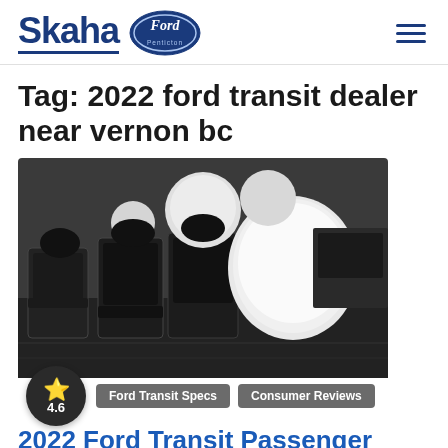Skaha Ford Penticton
Tag: 2022 ford transit dealer near vernon bc
[Figure (photo): Interior of a Ford Transit van showing deployed airbags and rows of black seats]
4.6
Ford Transit Specs | Consumer Reviews
2022 Ford Transit Passenger